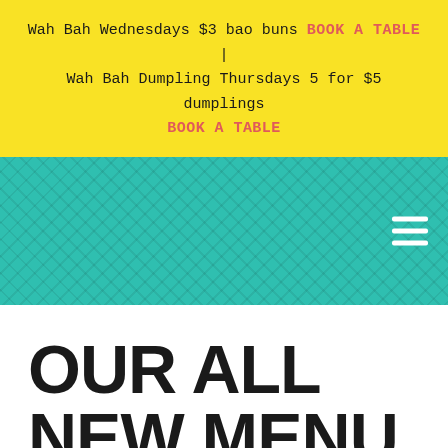Wah Bah Wednesdays $3 bao buns BOOK A TABLE | Wah Bah Dumpling Thursdays 5 for $5 dumplings BOOK A TABLE
[Figure (screenshot): Teal chevron-patterned navigation bar with hamburger menu icon on the right]
OUR ALL NEW MENU IS HERE!